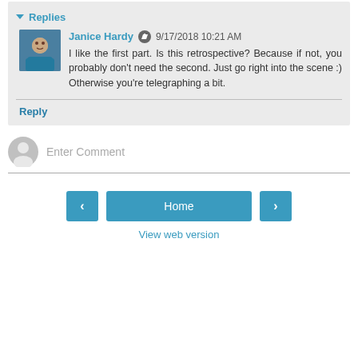▼ Replies
Janice Hardy  9/17/2018 10:21 AM
I like the first part. Is this retrospective? Because if not, you probably don't need the second. Just go right into the scene :) Otherwise you're telegraphing a bit.
Reply
Enter Comment
Home
View web version